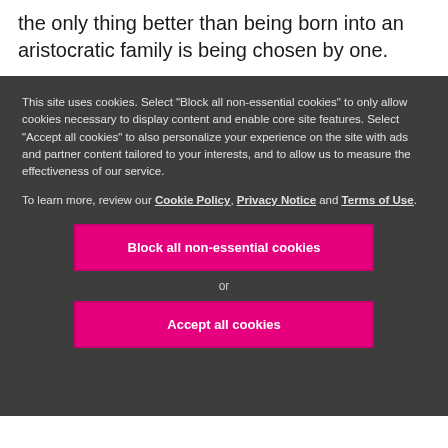the only thing better than being born into an aristocratic family is being chosen by one.
This site uses cookies. Select "Block all non-essential cookies" to only allow cookies necessary to display content and enable core site features. Select "Accept all cookies" to also personalize your experience on the site with ads and partner content tailored to your interests, and to allow us to measure the effectiveness of our service.
To learn more, review our Cookie Policy, Privacy Notice and Terms of Use.
Block all non-essential cookies
or
Accept all cookies